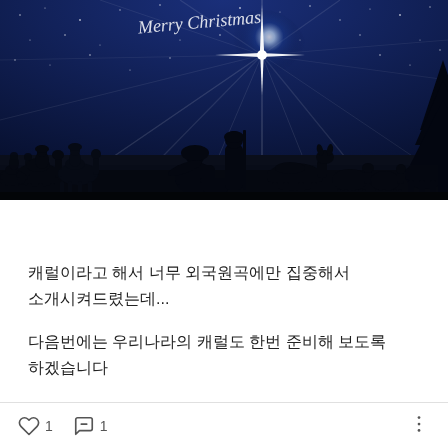[Figure (illustration): Christmas nativity scene illustration with dark blue starry night sky, bright star of Bethlehem radiating light, silhouettes of Mary kneeling over baby Jesus in manger, wisemen on camels approaching from left, animals (donkey, sheep, cattle) on right side. Decorative white script text at top.]
캐럴이라고 해서 너무 외국원곡에만 집중해서 소개시켜드렸는데...
다음번에는 우리나라의 캐럴도 한번 준비해 보도록 하겠습니다